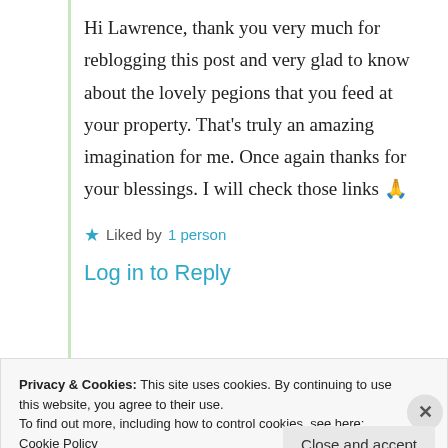Hi Lawrence, thank you very much for reblogging this post and very glad to know about the lovely pegions that you feed at your property. That's truly an amazing imagination for me. Once again thanks for your blessings. I will check those links 🙏
★ Liked by 1 person
Log in to Reply
Privacy & Cookies: This site uses cookies. By continuing to use this website, you agree to their use.
To find out more, including how to control cookies, see here: Cookie Policy